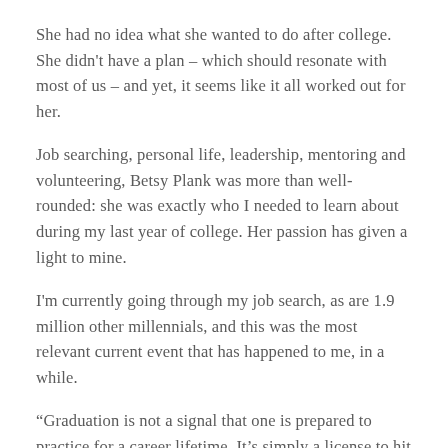She had no idea what she wanted to do after college. She didn't have a plan – which should resonate with most of us – and yet, it seems like it all worked out for her.
Job searching, personal life, leadership, mentoring and volunteering, Betsy Plank was more than well-rounded: she was exactly who I needed to learn about during my last year of college. Her passion has given a light to mine.
I'm currently going through my job search, as are 1.9 million other millennials, and this was the most relevant current event that has happened to me, in a while.
“Graduation is not a signal that one is prepared to practice for a career lifetime. It’s simply a license to hit the turf running and to keep learning.” Betsy knew what